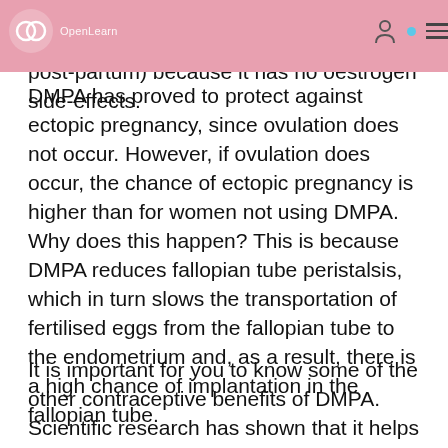OpenLearn header bar with navigation icons
sexual intercourse. It is also suitable for breastfeeding women (after six weeks post-partum) because it has no oestrogen side-effects.
DMPA has proved to protect against ectopic pregnancy, since ovulation does not occur. However, if ovulation does occur, the chance of ectopic pregnancy is higher than for women not using DMPA. Why does this happen? This is because DMPA reduces fallopian tube peristalsis, which in turn slows the transportation of fertilised eggs from the fallopian tube to the endometrium and, as a result, there is a high chance of implantation in the fallopian tube.
It is important for you to know some of the other contraceptive benefits of DMPA. Scientific research has shown that it helps prevent uterine tumours, may protect against pelvic inflammatory disease by